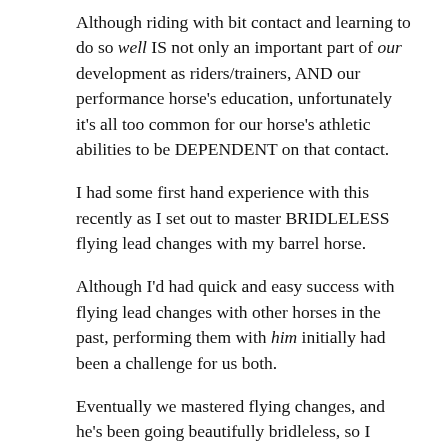Although riding with bit contact and learning to do so well IS not only an important part of our development as riders/trainers, AND our performance horse's education, unfortunately it's all too common for our horse's athletic abilities to be DEPENDENT on that contact.
I had some first hand experience with this recently as I set out to master BRIDLELESS flying lead changes with my barrel horse.
Although I'd had quick and easy success with flying lead changes with other horses in the past, performing them with him initially had been a challenge for us both.
Eventually we mastered flying changes, and he's been going beautifully bridleless, so I didn't quite expect that combining the two would be so difficult.
BUT, where there is challenge, there is change, and I was committed to persevering through what it would take to achieve my goal, having faith that there would be some valuable lessons on the other side.